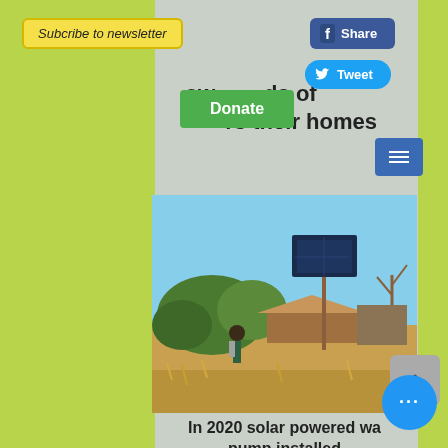Subcribe to newsletter
Share
Tweet
Donate
Millions power thousands of homes with solar energy
[Figure (photo): A person walking toward a solar panel mounted on a pole in a rural African village setting, with thatched-roof structures and dry grassland visible.]
In 2020 solar powered water pump installed